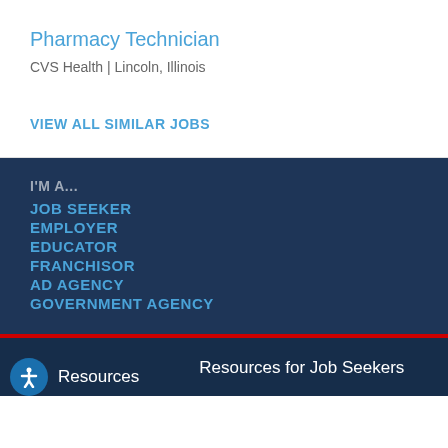Pharmacy Technician
CVS Health | Lincoln, Illinois
VIEW ALL SIMILAR JOBS
I'M A...
JOB SEEKER
EMPLOYER
EDUCATOR
FRANCHISOR
AD AGENCY
GOVERNMENT AGENCY
Resources    Resources for Job Seekers